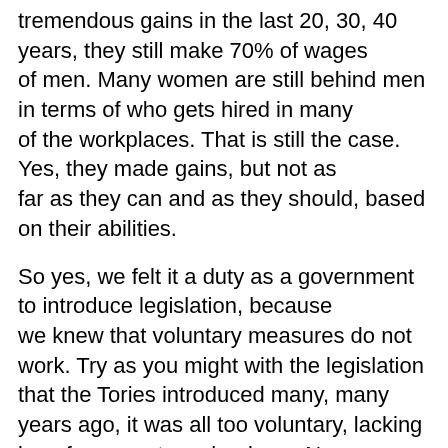tremendous gains in the last 20, 30, 40 years, they still make 70% of wages of men. Many women are still behind men in terms of who gets hired in many of the workplaces. That is still the case. Yes, they made gains, but not as far as they can and as they should, based on their abilities.
So yes, we felt it a duty as a government to introduce legislation, because we knew that voluntary measures do not work. Try as you might with the legislation that the Tories introduced many, many years ago, it was all too voluntary, lacking in enforcement mechanisms. No one was obliged to do anything. What kind of a bill was that to present to people with disabilities?